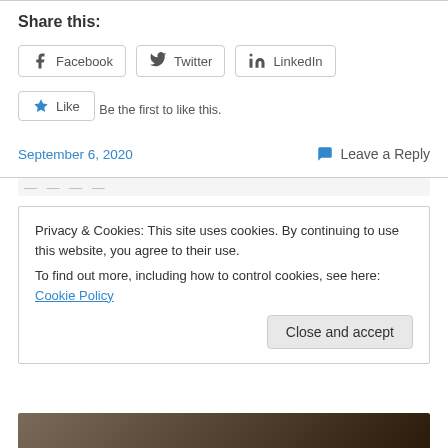Share this:
Facebook
Twitter
LinkedIn
Like
Be the first to like this.
September 6, 2020
Leave a Reply
Privacy & Cookies: This site uses cookies. By continuing to use this website, you agree to their use. To find out more, including how to control cookies, see here: Cookie Policy
Close and accept